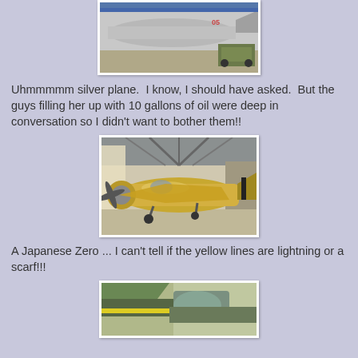[Figure (photo): Silver military plane on tarmac with military vehicle in background, partial view (top of image cut off)]
Uhmmmmm silver plane.  I know, I should have asked.  But the guys filling her up with 10 gallons of oil were deep in conversation so I didn't want to bother them!!
[Figure (photo): A Japanese Zero aircraft with golden/silver metallic finish inside a hangar with striped tail markings]
A Japanese Zero ... I can't tell if the yellow lines are lightning or a scarf!!!
[Figure (photo): Close-up of another Japanese aircraft showing cockpit area with green/yellow markings and a red/white circular insignia in the background]